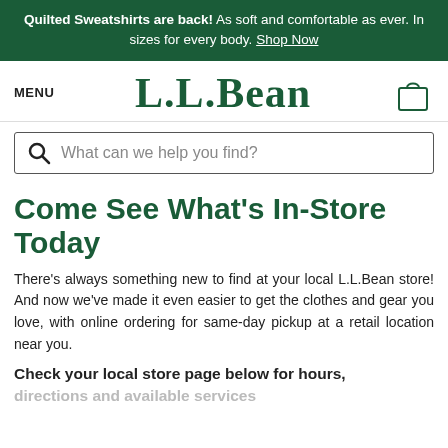Quilted Sweatshirts are back! As soft and comfortable as ever. In sizes for every body. Shop Now
[Figure (logo): L.L.Bean logo in dark green serif font]
MENU
[Figure (illustration): Shopping bag/cart icon outline]
What can we help you find?
Come See What's In-Store Today
There's always something new to find at your local L.L.Bean store! And now we've made it even easier to get the clothes and gear you love, with online ordering for same-day pickup at a retail location near you.
Check your local store page below for hours, directions and available services
directions and available services